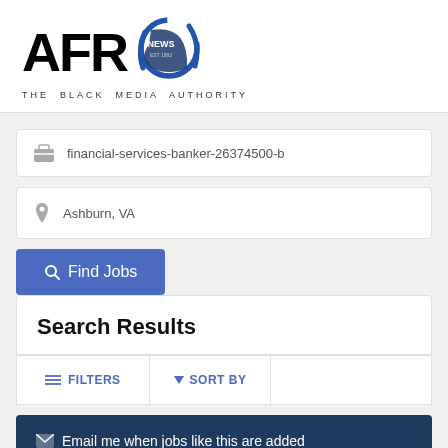[Figure (logo): AFRO News logo — bold black 'AFRO' text with a blue circular swoosh icon containing 'NEWS EST 1892', and tagline 'THE BLACK MEDIA AUTHORITY' below]
financial-services-banker-26374500-b
Ashburn, VA
Find Jobs
Search Results
FILTERS
SORT BY
Email me when jobs like this are added